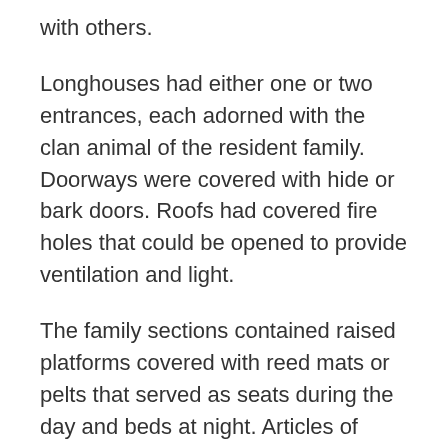with others.
Longhouses had either one or two entrances, each adorned with the clan animal of the resident family. Doorways were covered with hide or bark doors. Roofs had covered fire holes that could be opened to provide ventilation and light.
The family sections contained raised platforms covered with reed mats or pelts that served as seats during the day and beds at night. Articles of clothing were hung on the walls or stored in bark bins and baskets along with food and supplies.